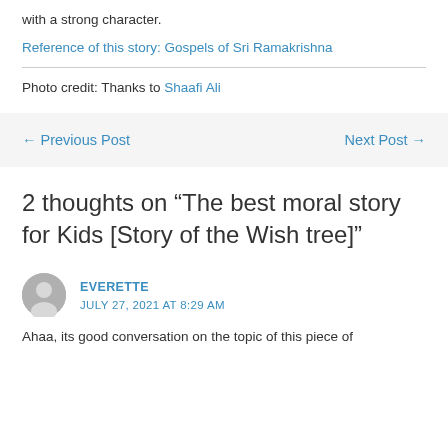with a strong character.
Reference of this story: Gospels of Sri Ramakrishna
Photo credit: Thanks to Shaafi Ali
← Previous Post
Next Post →
2 thoughts on “The best moral story for Kids [Story of the Wish tree]”
EVERETTE
JULY 27, 2021 AT 8:29 AM
Ahaa, its good conversation on the topic of this piece of